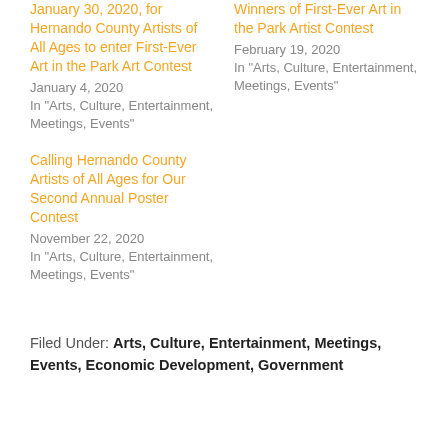January 30, 2020, for Hernando County Artists of All Ages to enter First-Ever Art in the Park Art Contest
January 4, 2020
In "Arts, Culture, Entertainment, Meetings, Events"
Winners of First-Ever Art in the Park Artist Contest
February 19, 2020
In "Arts, Culture, Entertainment, Meetings, Events"
Calling Hernando County Artists of All Ages for Our Second Annual Poster Contest
November 22, 2020
In "Arts, Culture, Entertainment, Meetings, Events"
Filed Under: Arts, Culture, Entertainment, Meetings, Events, Economic Development, Government